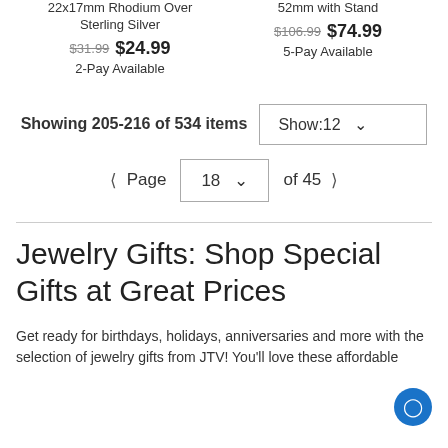22x17mm Rhodium Over Sterling Silver
$31.99  $24.99
2-Pay Available
52mm with Stand
$106.99  $74.99
5-Pay Available
Showing 205-216 of 534 items  Show: 12
Page 18 of 45
Jewelry Gifts: Shop Special Gifts at Great Prices
Get ready for birthdays, holidays, anniversaries and more with the selection of jewelry gifts from JTV! You'll love these affordable